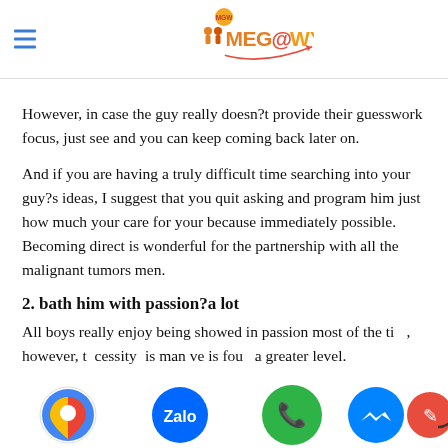MEG@WYN
However, in case the guy really doesn?t provide their guesswork focus, just see and you can keep coming back later on.
And if you are having a truly difficult time searching into your guy?s ideas, I suggest that you quit asking and program him just how much your care for your because immediately possible. Becoming direct is wonderful for the partnership with all the malignant tumors men.
2. bath him with passion?a lot
All boys really enjoy being showered in passion most of the time, however, the necessity this man have is found at a greater level.